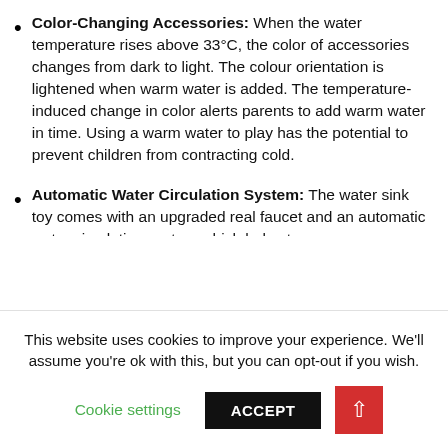Color-Changing Accessories: When the water temperature rises above 33°C, the color of accessories changes from dark to light. The colour orientation is lightened when warm water is added. The temperature-induced change in color alerts parents to add warm water in time. Using a warm water to play has the potential to prevent children from contracting cold.
Automatic Water Circulation System: The water sink toy comes with an upgraded real faucet and an automatic water circulation system which helps to
This website uses cookies to improve your experience. We'll assume you're ok with this, but you can opt-out if you wish.